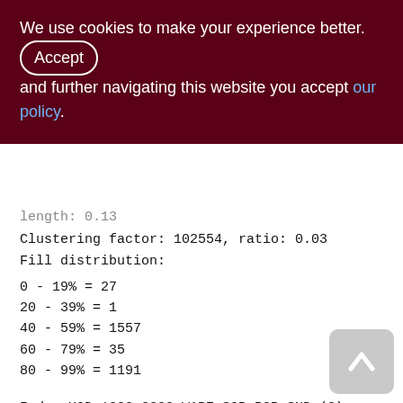We use cookies to make your experience better. By Accepting and further navigating this website you accept our policy.
length: 0.13
Clustering factor: 102554, ratio: 0.03
Fill distribution:
0 - 19% = 27
20 - 39% = 1
40 - 59% = 1557
60 - 79% = 35
80 - 99% = 1191
Index XQD_1000_3300_WARE_SOP_ROP_SND (0)
Root page: 11441, depth: 3, leaf buckets:
4357, nodes: 3130889
Average node length: 6.29, total dup: